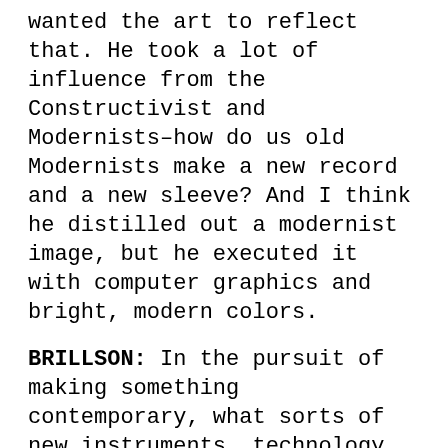wanted the art to reflect that. He took a lot of influence from the Constructivist and Modernists–how do us old Modernists make a new record and a new sleeve? And I think he distilled out a modernist image, but he executed it with computer graphics and bright, modern colors.
BRILLSON: In the pursuit of making something contemporary, what sorts of new instruments, technology or bands did you turn to for inspiration?
MCCLUSKEY: There was no actual need to sit down and do research. We listen to stuff. We are not livin in a...